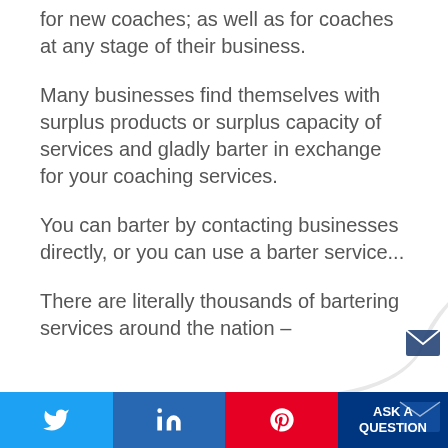for new coaches; as well as for coaches at any stage of their business.
Many businesses find themselves with surplus products or surplus capacity of services and gladly barter in exchange for your coaching services.
You can barter by contacting businesses directly, or you can use a barter service...
There are literally thousands of bartering services around the nation –